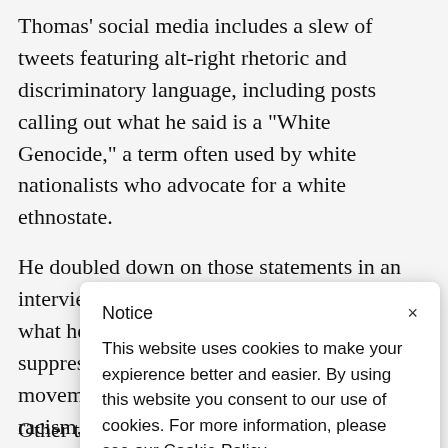Thomas' social media includes a slew of tweets featuring alt-right rhetoric and discriminatory language, including posts calling out what he said is a "White Genocide," a term often used by white nationalists who advocate for a white ethnostate.
He doubled down on those statements in an interview with The State Press, pointing to what he called a concerted effort by the left to suppress the voices of white males, a movement that he termed a “new kind of racism,” while also insisting tha
“Is on def tha
Notice

This website uses cookies to make your expierence better and easier. By using this website you consent to our use of cookies. For more information, please see our Cookie Policy.
Other tweets on his account support aborting